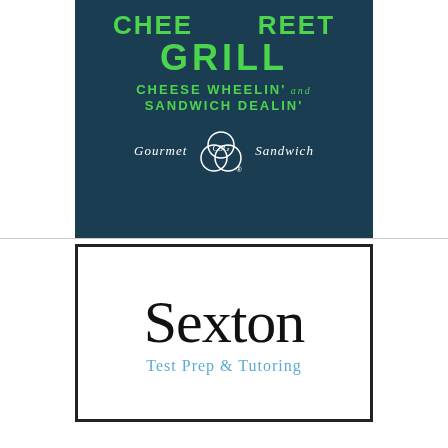[Figure (logo): Cheese Street Grill logo on dark teal/navy background with green text reading CHEESE STREET GRILL, CHEESE WHEELIN' and SANDWICH DEALIN', with a circular CSG monogram emblem and text 'Gourmet Sandwich']
[Figure (logo): Sexton Test Prep & Tutoring logo with large black serif 'Sexton' text and blue subtitle 'Test Prep & Tutoring' inside a black bordered white box]